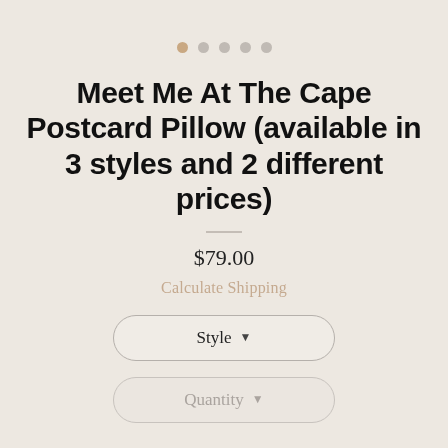[Figure (other): Five dots navigation indicator: first dot is tan/warm beige, remaining four dots are gray]
Meet Me At The Cape Postcard Pillow (available in 3 styles and 2 different prices)
$79.00
Calculate Shipping
Style ▾
Quantity ▾